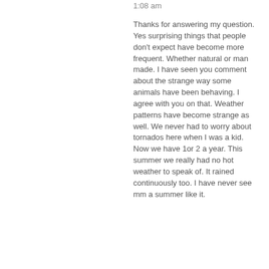1:08 am
Thanks for answering my question. Yes surprising things that people don't expect have become more frequent. Whether natural or man made. I have seen you comment about the strange way some animals have been behaving. I agree with you on that. Weather patterns have become strange as well. We never had to worry about tornados here when I was a kid. Now we have 1or 2 a year. This summer we really had no hot weather to speak of. It rained continuously too. I have never see mm a summer like it.